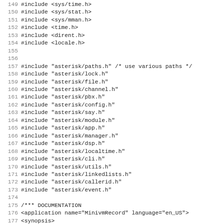149 #include <sys/time.h>
150 #include <sys/stat.h>
151 #include <sys/mman.h>
152 #include <time.h>
153 #include <dirent.h>
154 #include <locale.h>
155
156
157 #include "asterisk/paths.h"      /* use various paths */
158 #include "asterisk/lock.h"
159 #include "asterisk/file.h"
160 #include "asterisk/channel.h"
161 #include "asterisk/pbx.h"
162 #include "asterisk/config.h"
163 #include "asterisk/say.h"
164 #include "asterisk/module.h"
165 #include "asterisk/app.h"
166 #include "asterisk/manager.h"
167 #include "asterisk/dsp.h"
168 #include "asterisk/localtime.h"
169 #include "asterisk/cli.h"
170 #include "asterisk/utils.h"
171 #include "asterisk/linkedlists.h"
172 #include "asterisk/callerid.h"
173 #include "asterisk/event.h"
174
175 /*** DOCUMENTATION
176 <application name="MinivmRecord" language="en_US">
177         <synopsis>
178                 Receive Mini-Voicemail and forward via
179         </synopsis>
180         <syntax>
181